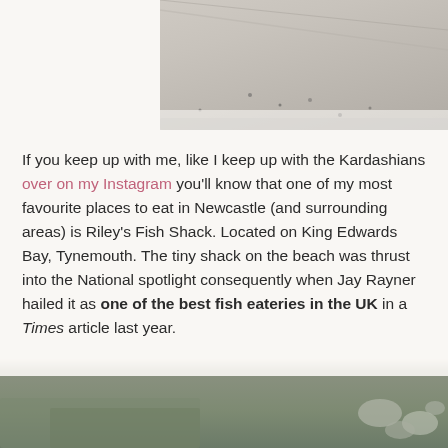[Figure (photo): Top portion of a beach/sandy scene, grayscale/muted tones, partial view cropped at top of page]
If you keep up with me, like I keep up with the Kardashians over on my Instagram you'll know that one of my most favourite places to eat in Newcastle (and surrounding areas) is Riley's Fish Shack. Located on King Edwards Bay, Tynemouth. The tiny shack on the beach was thrust into the National spotlight consequently when Jay Rayner hailed it as one of the best fish eateries in the UK in a Times article last year.
[Figure (photo): Bottom portion showing a rocky/grassy coastal scene, muted green and grey tones]